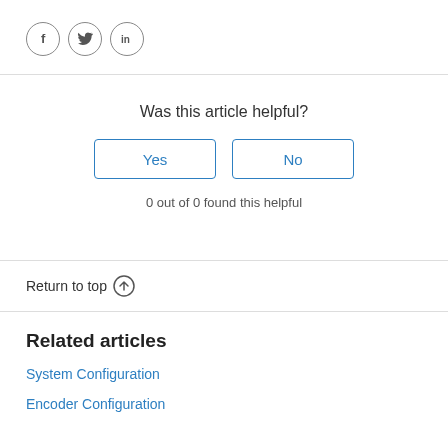[Figure (other): Three social media share icons in circles: Facebook (f), Twitter (bird), LinkedIn (in)]
Was this article helpful?
[Figure (other): Two buttons labeled 'Yes' and 'No' with blue borders for article feedback]
0 out of 0 found this helpful
Return to top ↑
Related articles
System Configuration
Encoder Configuration